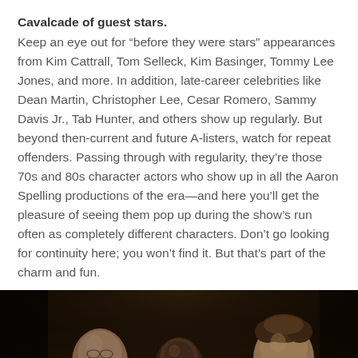Cavalcade of guest stars.
Keep an eye out for “before they were stars” appearances from Kim Cattrall, Tom Selleck, Kim Basinger, Tommy Lee Jones, and more. In addition, late-career celebrities like Dean Martin, Christopher Lee, Cesar Romero, Sammy Davis Jr., Tab Hunter, and others show up regularly. But beyond then-current and future A-listers, watch for repeat offenders. Passing through with regularity, they’re those 70s and 80s character actors who show up in all the Aaron Spelling productions of the era—and here you’ll get the pleasure of seeing them pop up during the show’s run often as completely different characters. Don’t go looking for continuity here; you won’t find it. But that’s part of the charm and fun.
[Figure (photo): A dark, moody scene showing three men. On the left is a bald man, in the center is a Black man, and on the right is a man with curly hair wearing a sleeveless top. The scene appears to be from a 1970s or 80s TV show.]